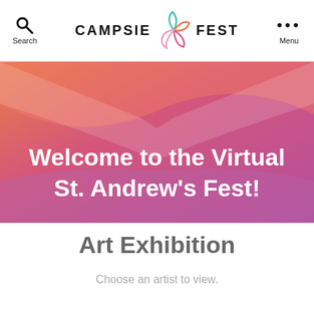Search | CAMPSIE FEST | Menu
[Figure (illustration): Colorful gradient banner with wave/ribbon shape in orange, pink, and purple hues containing white bold text 'Welcome to the Virtual St. Andrew's Fest!']
Welcome to the Virtual St. Andrew's Fest!
Art Exhibition
Choose an artist to view.